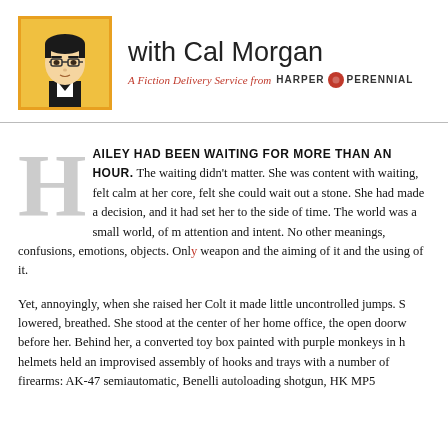[Figure (illustration): Illustrated portrait of a man with glasses and dark hair wearing a suit, on a yellow/orange background with a border]
with Cal Morgan
A Fiction Delivery Service from HARPER PERENNIAL
HAILEY HAD BEEN WAITING FOR MORE THAN AN HOUR. waiting didn't matter. She was content with waiting, felt calm at core, felt she could wait out a stone. She had made a decision, and had set her to the side of time. The world was a small world, of m attention and intent. No other meanings, confusions, emotions, objects. Only weapon and the aiming of it and the using of it.
Yet, annoyingly, when she raised her Colt it made little uncontrolled jumps. S lowered, breathed. She stood at the center of her home office, the open doorw before her. Behind her, a converted toy box painted with purple monkeys in h helmets held an improvised assembly of hooks and trays with a number of firearms: AK-47 semiautomatic, Benelli autoloading shotgun, HK MP5